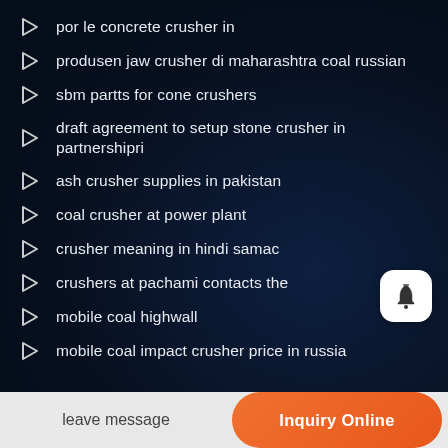por le concrete crusher in
produsen jaw crusher di maharashtra coal russian
sbm partts for cone crushers
draft agreement to setup stone crusher in partnershipri
ash crusher supplies in pakistan
coal crusher at power plant
crusher meaning in hindi samac
crushers at pachami contacts the
mobile coal highwall
mobile coal impact crusher price in russia
leave message | Inquiry Online